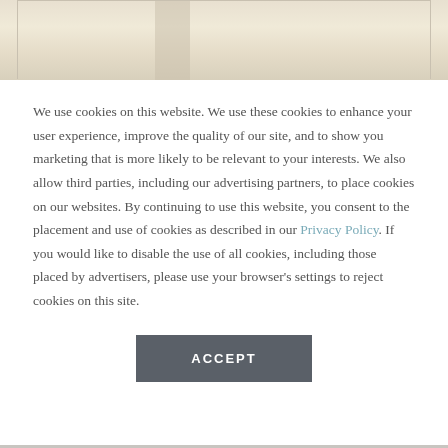[Figure (photo): Partial view of a room interior with warm beige/cream tones, possibly curtains or wall panels visible]
We use cookies on this website. We use these cookies to enhance your user experience, improve the quality of our site, and to show you marketing that is more likely to be relevant to your interests. We also allow third parties, including our advertising partners, to place cookies on our websites. By continuing to use this website, you consent to the placement and use of cookies as described in our Privacy Policy. If you would like to disable the use of all cookies, including those placed by advertisers, please use your browser's settings to reject cookies on this site.
ACCEPT